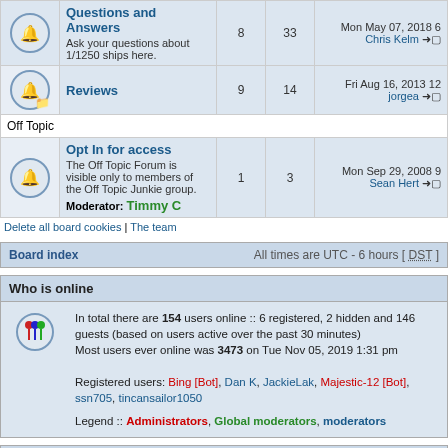|  | Forum | Topics | Posts | Last post |
| --- | --- | --- | --- | --- |
| [icon] | Questions and Answers
Ask your questions about 1/1250 ships here. | 8 | 33 | Mon May 07, 2018 6
Chris Kelm → |
| [icon] | Reviews | 9 | 14 | Fri Aug 16, 2013 12
jorgea → |
| Off Topic |  |  |  |  |
| [icon] | Opt In for access
The Off Topic Forum is visible only to members of the Off Topic Junkie group.
Moderator: Timmy C | 1 | 3 | Mon Sep 29, 2008 9
Sean Hert → |
Delete all board cookies | The team
Board index   All times are UTC - 6 hours [ DST ]
Who is online
In total there are 154 users online :: 6 registered, 2 hidden and 146 guests (based on users active over the past 30 minutes)
Most users ever online was 3473 on Tue Nov 05, 2019 1:31 pm

Registered users: Bing [Bot], Dan K, JackieLak, Majestic-12 [Bot], ssn705, tincansailor1050

Legend :: Administrators, Global moderators, moderators
Statistics
Total posts 321260 | Total topics 15602 | Total members 27197 |